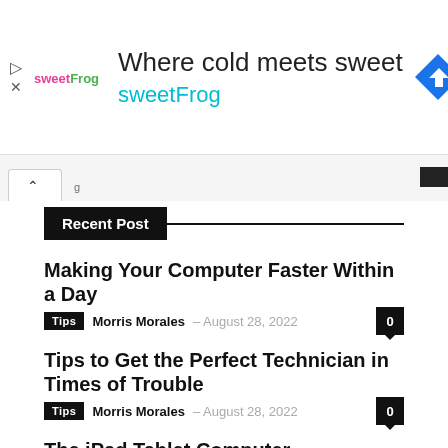[Figure (other): sweetFrog advertisement banner with logo, tagline 'Where cold meets sweet sweetFrog', and a blue diamond direction arrow icon]
Recent Post
Making Your Computer Faster Within a Day
Tips  Morris Morales  August 28, 2022  0
Tips to Get the Perfect Technician in Times of Trouble
Tips  Morris Morales  August 28, 2022  0
The iPad Tablet Computer
Tips  Morris Morales  August 27, 2022  0